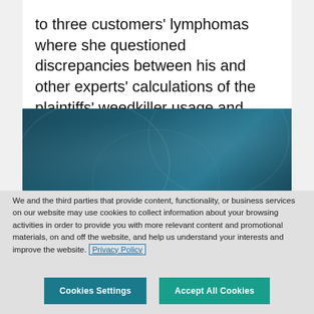to three customers' lymphomas where she questioned discrepancies between his and other experts' calculations of the plaintiffs' weedkiller usage and...
[Figure (illustration): Dark teal/blue gradient decorative banner image with subtle geometric overlay patterns]
We and the third parties that provide content, functionality, or business services on our website may use cookies to collect information about your browsing activities in order to provide you with more relevant content and promotional materials, on and off the website, and help us understand your interests and improve the website. Privacy Policy
Cookies Settings
Accept All Cookies